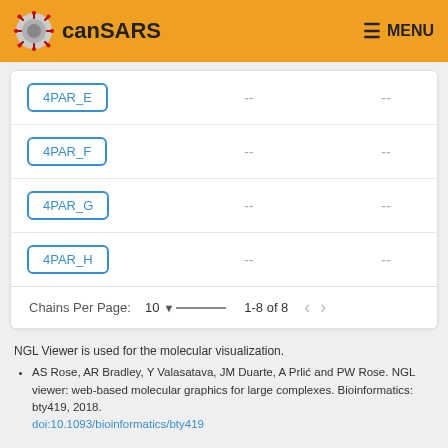canSARS  MENU
| Chain |  |  |
| --- | --- | --- |
| 4PAR_E | -- | -- |
| 4PAR_F | -- | -- |
| 4PAR_G | -- | -- |
| 4PAR_H | -- | -- |
Chains Per Page: 10 ▾  1-8 of 8  < >
NGL Viewer is used for the molecular visualization.
AS Rose, AR Bradley, Y Valasatava, JM Duarte, A Prlić and PW Rose. NGL viewer: web-based molecular graphics for large complexes. Bioinformatics: bty419, 2018. doi:10.1093/bioinformatics/bty419